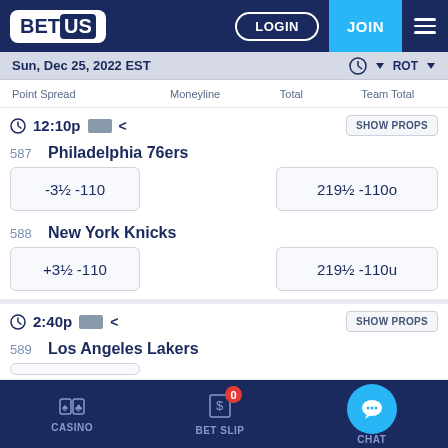[Figure (screenshot): BetUS sportsbook mobile app header with logo, LOGIN and JOIN buttons]
Sun, Dec 25, 2022 EST
Point Spread  Moneyline  Total  Team Total
12:10p  SHOW PROPS
587  Philadelphia 76ers
-3½ -110
219½ -110o
588  New York Knicks
+3½ -110
219½ -110u
2:40p  SHOW PROPS
589  Los Angeles Lakers
CASINO  BET SLIP  CHAT